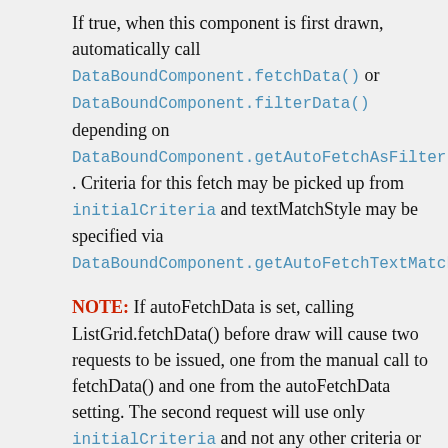If true, when this component is first drawn, automatically call DataBoundComponent.fetchData() or DataBoundComponent.filterData() depending on DataBoundComponent.getAutoFetchAsFilter(). Criteria for this fetch may be picked up from initialCriteria and textMatchStyle may be specified via DataBoundComponent.getAutoFetchTextMatchSty
NOTE: If autoFetchData is set, calling ListGrid.fetchData() before draw will cause two requests to be issued, one from the manual call to fetchData() and one from the autoFetchData setting. The second request will use only initialCriteria and not any other criteria or settings from the first request. Generally, turn off autoFetchData if you are going to manually call